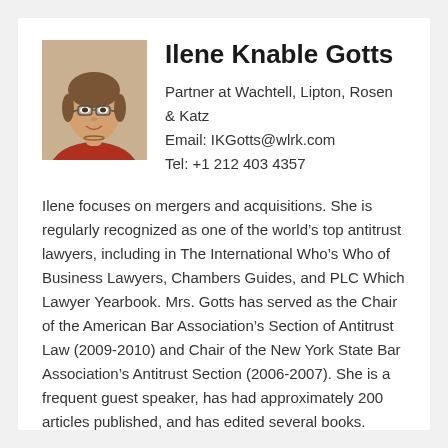[Figure (photo): Headshot photo of Ilene Knable Gotts, a woman wearing glasses and a red top, smiling]
Ilene Knable Gotts
Partner at Wachtell, Lipton, Rosen & Katz
Email: IKGotts@wlrk.com
Tel: +1 212 403 4357
Ilene focuses on mergers and acquisitions. She is regularly recognized as one of the world’s top antitrust lawyers, including in The International Who’s Who of Business Lawyers, Chambers Guides, and PLC Which Lawyer Yearbook. Mrs. Gotts has served as the Chair of the American Bar Association’s Section of Antitrust Law (2009-2010) and Chair of the New York State Bar Association’s Antitrust Section (2006-2007). She is a frequent guest speaker, has had approximately 200 articles published, and has edited several books.